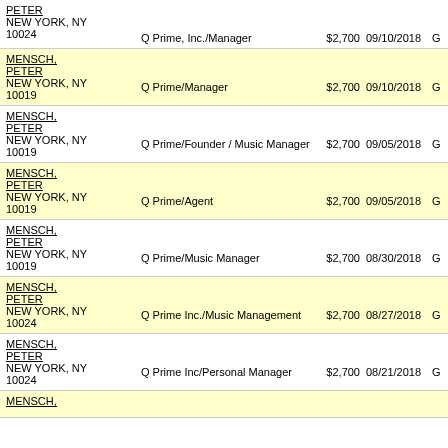| Name/Address | Employer/Occupation | Amount | Date | Type | Recipient |
| --- | --- | --- | --- | --- | --- |
| PETER
NEW YORK, NY
10024 | Q Prime, Inc./Manager | $2,700 | 09/10/2018 | G | COMM... |
| MENSCH, PETER
NEW YORK, NY
10019 | Q Prime/Manager | $2,700 | 09/10/2018 | G | DEAN
Labor |
| MENSCH, PETER
NEW YORK, NY
10019 | Q Prime/Founder / Music Manager | $2,700 | 09/05/2018 | G | HALEY |
| MENSCH, PETER
NEW YORK, NY
10019 | Q Prime/Agent | $2,700 | 09/05/2018 | G | ELISS... |
| MENSCH, PETER
NEW YORK, NY
10019 | Q Prime/Music Manager | $2,700 | 08/30/2018 | G | JOSH |
| MENSCH, PETER
NEW YORK, NY
10024 | Q Prime Inc./Music Management | $2,700 | 08/27/2018 | G | BREN...
Democ... |
| MENSCH, PETER
NEW YORK, NY
10024 | Q Prime Inc/Personal Manager | $2,700 | 08/21/2018 | G | ANDY |
| MENSCH, |  |  |  |  |  |